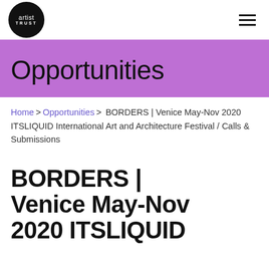artist trust
Opportunities
Home > Opportunities > BORDERS | Venice May-Nov 2020 ITSLIQUID International Art and Architecture Festival / Calls & Submissions
BORDERS | Venice May-Nov 2020 ITSLIQUID